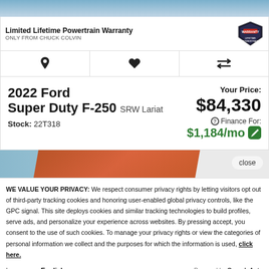[Figure (photo): Partial view of a vehicle photo at top of page]
Limited Lifetime Powertrain Warranty ONLY FROM CHUCK COLVIN
[Figure (logo): Chuck Colvin Lifetime Powertrain Warranty badge/shield logo]
2022 Ford Super Duty F-250 SRW Lariat Stock: 22T318
Your Price: $84,330 Finance For: $1,184/mo
[Figure (photo): Partial vehicle or promotional image with close button]
WE VALUE YOUR PRIVACY: We respect consumer privacy rights by letting visitors opt out of third-party tracking cookies and honoring user-enabled global privacy controls, like the GPC signal. This site deploys cookies and similar tracking technologies to build profiles, serve ads, and personalize your experience across websites. By pressing accept, you consent to the use of such cookies. To manage your privacy rights or view the categories of personal information we collect and the purposes for which the information is used, click here.
Language: English
Powered by ComplyAuto
Accept and Continue →
Privacy Policy